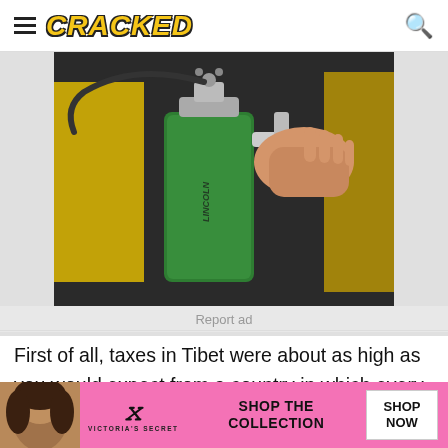CRACKED
[Figure (photo): A hand holding a green grease gun with metal fittings and a hose, with a yellow machine in the background.]
Report ad
First of all, taxes in Tibet were about as high as you would expect from a country in which every individual member of government lived in their own massive
[Figure (photo): Victoria's Secret advertisement banner with model photo on pink background. Text: SHOP THE COLLECTION. Button: SHOP NOW.]